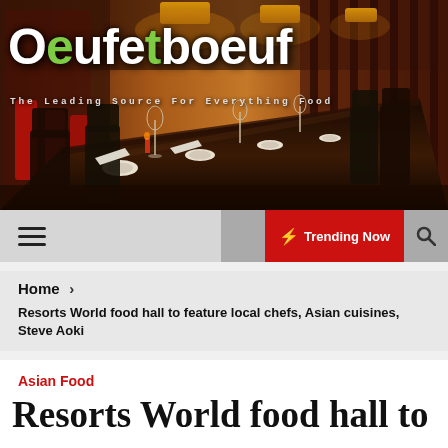[Figure (photo): Interior of an Asian-style restaurant with long dining table set with plates and glasses, dark wood chairs, warm amber lighting, red accent elements on walls, perspective view down the room]
Oeufetboeuf
The Leading Source For Everything Food
☰  ☽  ⚡ Trending Now  🔍
Home >
Resorts World food hall to feature local chefs, Asian cuisines, Steve Aoki
Asian Food
Resorts World food hall to